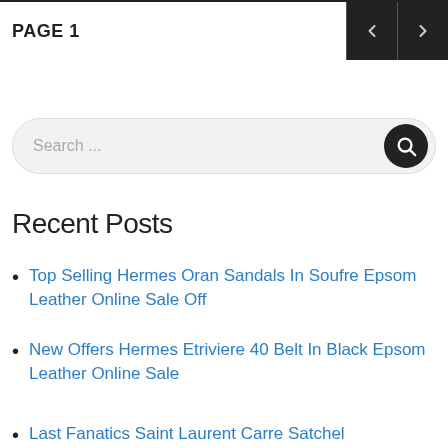PAGE 1
[Figure (screenshot): Search input box with dark circular search button on right]
Recent Posts
Top Selling Hermes Oran Sandals In Soufre Epsom Leather Online Sale Off
New Offers Hermes Etriviere 40 Belt In Black Epsom Leather Online Sale
Last Fanatics Saint Laurent Carre Satchel